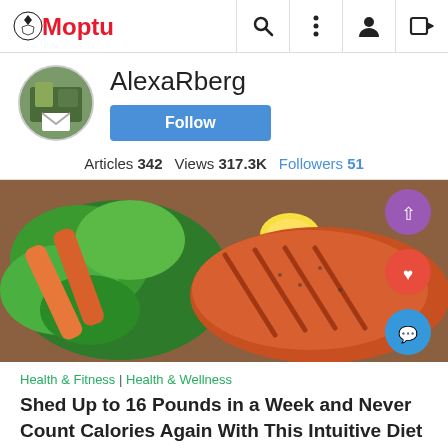Moptu — navigation bar with search, menu, profile, and login icons
AlexaRberg
Articles 342   Views 317.3K   Followers 51
[Figure (photo): Grilled salmon fillet with green salad on a wooden board, with purple share, red like, and blue comment floating action buttons on the right side]
Health & Fitness | Health & Wellness
Shed Up to 16 Pounds in a Week and Never Count Calories Again With This Intuitive Diet Change
View as Desktop